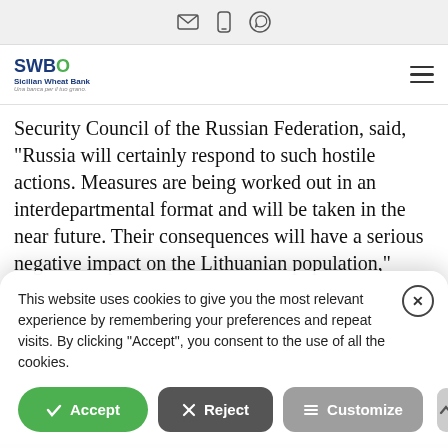Icons: email, phone, WhatsApp
[Figure (logo): SWBO Sicilian Wheat Bank logo with green circle element and tagline]
Security Council of the Russian Federation, said, “Russia will certainly respond to such hostile actions. Measures are being worked out in an interdepartmental format and will be taken in the near future. Their consequences will have a serious negative impact on the Lithuanian population,”
This website uses cookies to give you the most relevant experience by remembering your preferences and repeat visits. By clicking “Accept”, you consent to the use of all the cookies.